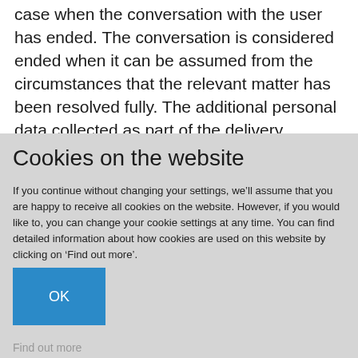case when the conversation with the user has ended. The conversation is considered ended when it can be assumed from the circumstances that the relevant matter has been resolved fully. The additional personal data collected as part of the delivery process is deleted within seven days. 5. The right to object and rectification If data is required to fulfil a contract or
Cookies on the website
If you continue without changing your settings, we’ll assume that you are happy to receive all cookies on the website. However, if you would like to, you can change your cookie settings at any time. You can find detailed information about how cookies are used on this website by clicking on ‘Find out more’.
OK
Find out more